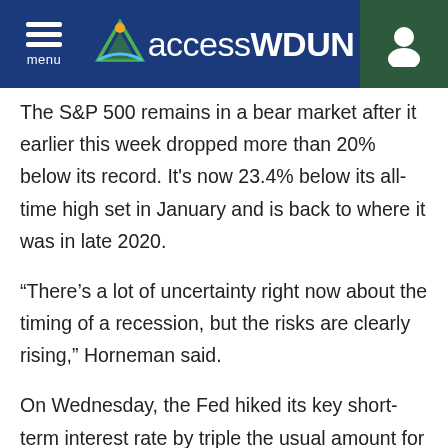menu | accessWDUN
The S&P 500 remains in a bear market after it earlier this week dropped more than 20% below its record. It's now 23.4% below its all-time high set in January and is back to where it was in late 2020.
“There’s a lot of uncertainty right now about the timing of a recession, but the risks are clearly rising,” Horneman said.
On Wednesday, the Fed hiked its key short-term interest rate by triple the usual amount for its biggest increase since 1994. It could consider another such mega-hike at its next meeting in July